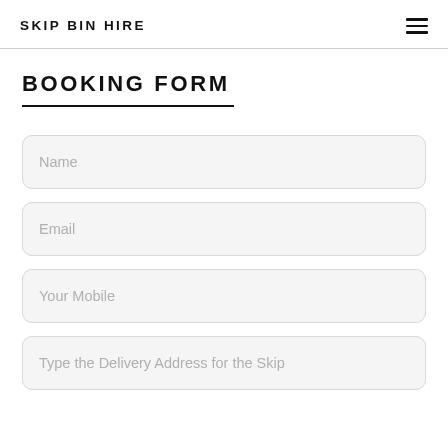SKIP BIN HIRE
BOOKING FORM
Name
Email
Your Mobile
Type the Delivery Address for the Skip